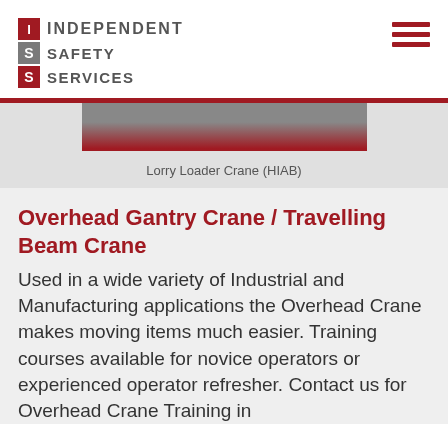INDEPENDENT SAFETY SERVICES
[Figure (photo): Partially visible photo of a Lorry Loader Crane (HIAB) at top of page]
Lorry Loader Crane (HIAB)
Overhead Gantry Crane / Travelling Beam Crane
Used in a wide variety of Industrial and Manufacturing applications the Overhead Crane makes moving items much easier. Training courses available for novice operators or experienced operator refresher. Contact us for Overhead Crane Training in